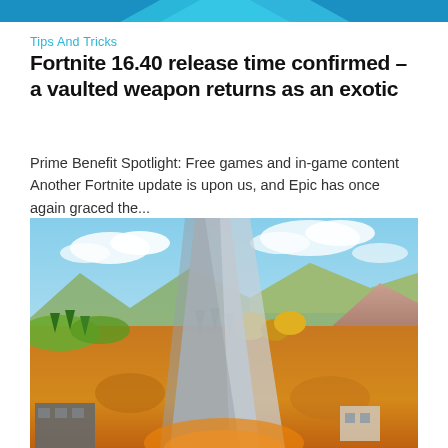Tips And Tricks
Fortnite 16.40 release time confirmed – a vaulted weapon returns as an exotic
Prime Benefit Spotlight: Free games and in-game content Another Fortnite update is upon us, and Epic has once again graced the...
[Figure (screenshot): Fortnite gameplay screenshot showing an aerial view of the map with colorful terrain including orange/brown ground, green trees, blue sky with clouds, and various structures in the distance]